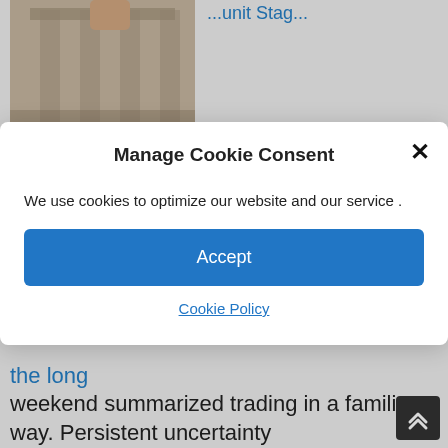[Figure (photo): Photo of classical stone building facade/columns, partially cropped]
Stocks are set to open mutated as corporate earnings step up a gear. US futures
the long weekend summarized trading in a familiar way. Persistent uncertainty
[Figure (photo): Photo of IMF plaque/logo sign]
IMF slashes 2022 growth
Manage Cookie Consent
We use cookies to optimize our website and our service .
Accept
Cookie Policy